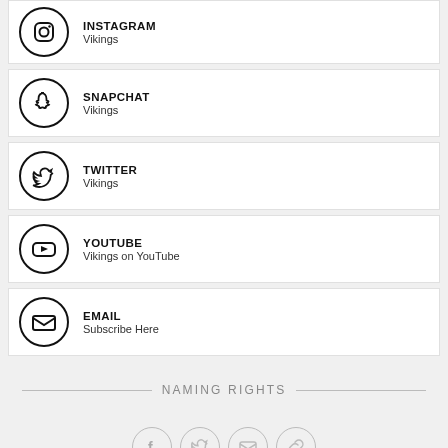INSTAGRAM
Vikings
SNAPCHAT
Vikings
TWITTER
Vikings
YOUTUBE
Vikings on YouTube
EMAIL
Subscribe Here
NAMING RIGHTS
[Figure (illustration): Four small social media icon circles: Facebook, Twitter, Email, Link]